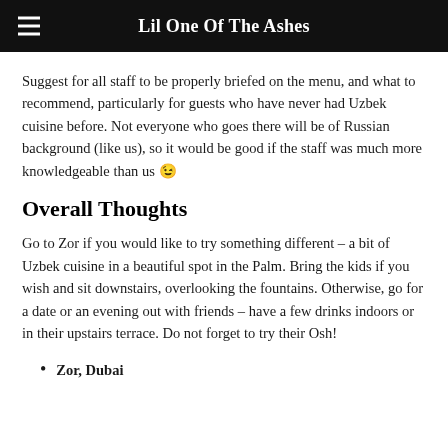Lil One Of The Ashes
Suggest for all staff to be properly briefed on the menu, and what to recommend, particularly for guests who have never had Uzbek cuisine before. Not everyone who goes there will be of Russian background (like us), so it would be good if the staff was much more knowledgeable than us 😉
Overall Thoughts
Go to Zor if you would like to try something different – a bit of Uzbek cuisine in a beautiful spot in the Palm. Bring the kids if you wish and sit downstairs, overlooking the fountains. Otherwise, go for a date or an evening out with friends – have a few drinks indoors or in their upstairs terrace. Do not forget to try their Osh!
Zor, Dubai